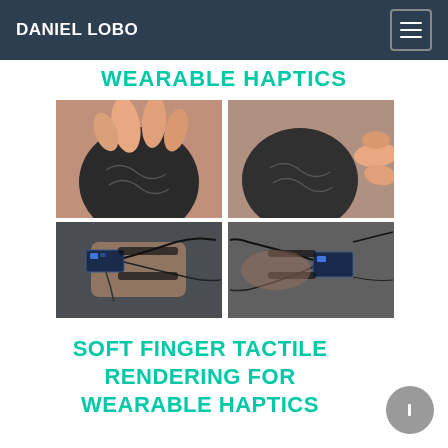DANIEL LOBO
WEARABLE HAPTICS
[Figure (photo): Four-panel image grid: top-left shows two hands touching a dark baseball from above; top-right shows a hand touching a dark baseball from the side; bottom-left shows a wearable haptic device with wires and electronics on a finger; bottom-right shows a similar haptic device from a different angle.]
SOFT FINGER TACTILE RENDERING FOR WEARABLE HAPTICS